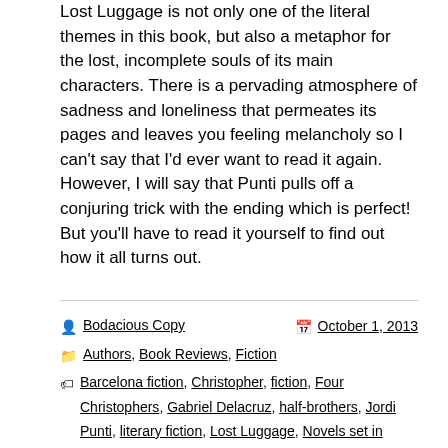Lost Luggage is not only one of the literal themes in this book, but also a metaphor for the lost, incomplete souls of its main characters. There is a pervading atmosphere of sadness and loneliness that permeates its pages and leaves you feeling melancholy so I can't say that I'd ever want to read it again. However, I will say that Punti pulls off a conjuring trick with the ending which is perfect! But you'll have to read it yourself to find out how it all turns out.
Bodacious Copy | October 1, 2013 | Authors, Book Reviews, Fiction | Barcelona fiction, Christopher, fiction, Four Christophers, Gabriel Delacruz, half-brothers, Jordi Punti, literary fiction, Lost Luggage, Novels set in Barcelona, Simon & Schuster,